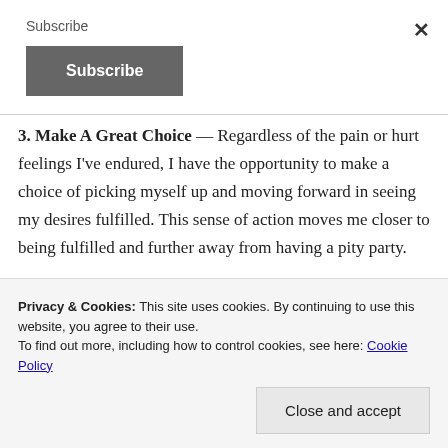Subscribe
Subscribe (button)
× (close button)
3. Make A Great Choice — Regardless of the pain or hurt feelings I've endured, I have the opportunity to make a choice of picking myself up and moving forward in seeing my desires fulfilled. This sense of action moves me closer to being fulfilled and further away from having a pity party.
Privacy & Cookies: This site uses cookies. By continuing to use this website, you agree to their use.
To find out more, including how to control cookies, see here: Cookie Policy
Close and accept